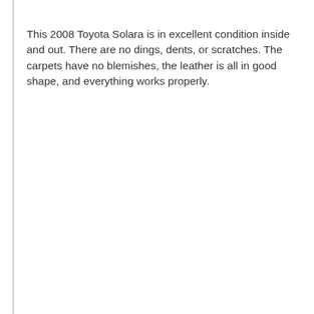This 2008 Toyota Solara is in excellent condition inside and out. There are no dings, dents, or scratches. The carpets have no blemishes, the leather is all in good shape, and everything works properly.